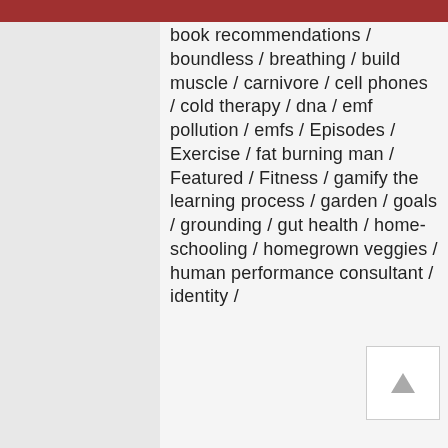book recommendations / boundless / breathing / build muscle / carnivore / cell phones / cold therapy / dna / emf pollution / emfs / Episodes / Exercise / fat burning man / Featured / Fitness / gamify the learning process / garden / goals / grounding / gut health / home-schooling / homegrown veggies / human performance consultant / identity /